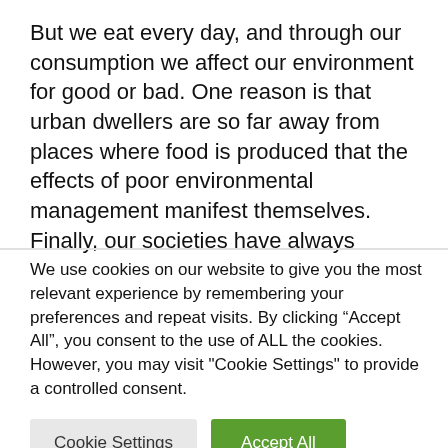But we eat every day, and through our consumption we affect our environment for good or bad. One reason is that urban dwellers are so far away from places where food is produced that the effects of poor environmental management manifest themselves. Finally, our societies have always believed that they are independent of nature and capable of doing whatever they
We use cookies on our website to give you the most relevant experience by remembering your preferences and repeat visits. By clicking “Accept All”, you consent to the use of ALL the cookies. However, you may visit "Cookie Settings" to provide a controlled consent.